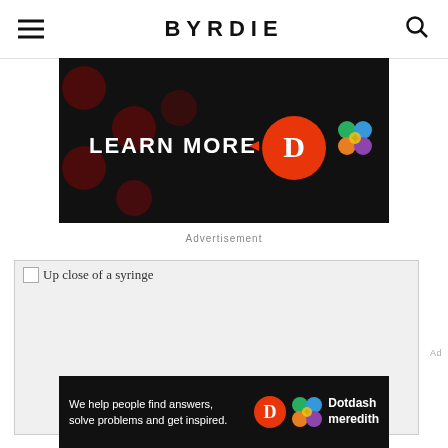BYRDIE
[Figure (infographic): Dark background advertisement banner with 'LEARN MORE' text and Dotdash Meredith logos]
Advertisement
[Figure (photo): Up close of a syringe — broken/unloaded image placeholder]
[Figure (infographic): Bottom dark ad banner: 'We help people find answers, solve problems and get inspired.' with Dotdash Meredith branding]